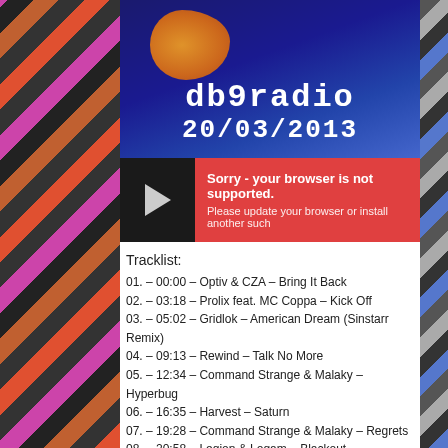[Figure (illustration): db9radio logo with date 20/03/2013 on dark blue background with orange blob decoration]
[Figure (screenshot): Audio player bar with play button and red error message: Sorry - your browser is not supported. Please update your browser or install another such]
Tracklist:
01. – 00:00 – Optiv & CZA – Bring It Back
02. – 03:18 – Prolix feat. MC Coppa – Kick Off
03. – 05:02 – Gridlok – American Dream (Sinstarr Remix)
04. – 09:13 – Rewind – Talk No More
05. – 12:34 – Command Strange & Malaky – Hyperbug
06. – 16:35 – Harvest – Saturn
07. – 19:28 – Command Strange & Malaky – Regrets
08. – 20:58 – Legion & Logam – Blackout